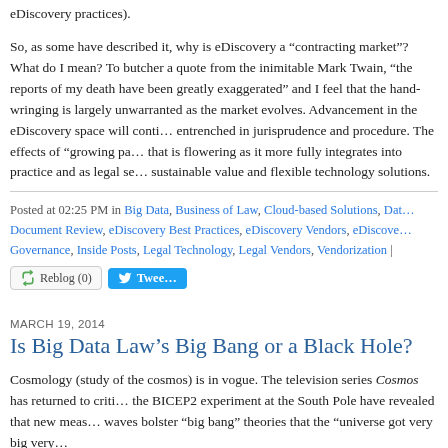eDiscovery practices).
So, as some have described it, why is eDiscovery a "contracting market"? What do I mean? To butcher a quote from the inimitable Mark Twain, "the reports of my death have been greatly exaggerated" and I feel that the hand-wringing is largely unwarranted as the market evolves. Advancement in the eDiscovery space will continue to become entrenched in jurisprudence and procedure. The effects of "growing pains" is a field that is flowering as it more fully integrates into practice and as legal service providers offer sustainable value and flexible technology solutions.
Posted at 02:25 PM in Big Data, Business of Law, Cloud-based Solutions, Data Document Review, eDiscovery Best Practices, eDiscovery Vendors, eDiscovery Governance, Inside Posts, Legal Technology, Legal Vendors, Vendorization |
[Figure (other): Reblog (0) button and Tweet button]
MARCH 19, 2014
Is Big Data Law's Big Bang or a Black Hole?
Cosmology (study of the cosmos) is in vogue. The television series Cosmos has returned to critics the BICEP2 experiment at the South Pole have revealed that new meas waves bolster "big bang" theories that the "universe got very big very